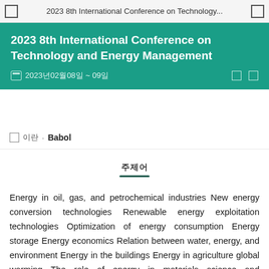2023 8th International Conference on Technology...
2023 8th International Conference on Technology and Energy Management
2023년02월08일 ~ 09일
이란 · Babol
주제어
Energy in oil, gas, and petrochemical industries New energy conversion technologies Renewable energy exploitation technologies Optimization of energy consumption Energy storage Energy economics Relation between water, energy, and environment Energy in the buildings Energy in agriculture global warming The role of energy in materials science and manufacturing technology Nanotechnology and Green Management Energy